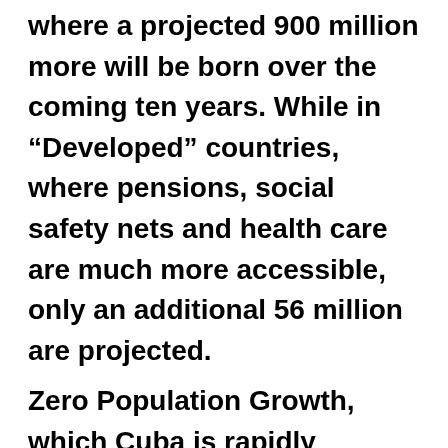where a projected 900 million more will be born over the coming ten years. While in “Developed” countries, where pensions, social safety nets and health care are much more accessible, only an additional 56 million are projected. Zero Population Growth, which Cuba is rapidly approaching, is primarily a characteristic of “Developed” countries like...